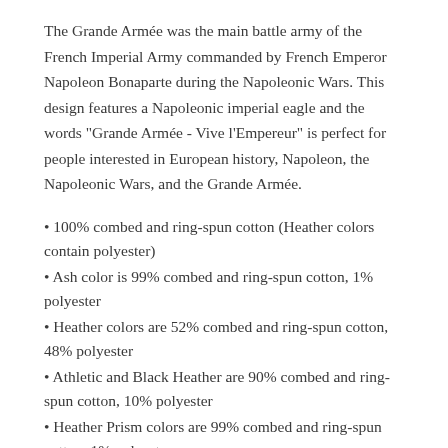The Grande Armée was the main battle army of the French Imperial Army commanded by French Emperor Napoleon Bonaparte during the Napoleonic Wars. This design features a Napoleonic imperial eagle and the words "Grande Armée - Vive l'Empereur" is perfect for people interested in European history, Napoleon, the Napoleonic Wars, and the Grande Armée.
100% combed and ring-spun cotton (Heather colors contain polyester)
Ash color is 99% combed and ring-spun cotton, 1% polyester
Heather colors are 52% combed and ring-spun cotton, 48% polyester
Athletic and Black Heather are 90% combed and ring-spun cotton, 10% polyester
Heather Prism colors are 99% combed and ring-spun cotton, 1% polyester
Fabric weight: 4.2 oz (142 g/m2)
Pre-shrunk fabric
Side-seamed construction